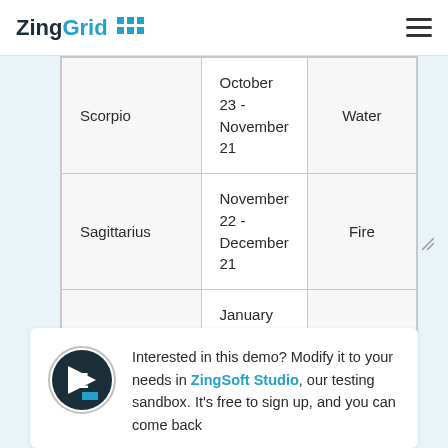ZingGrid
| Sign | Dates | Element |
| --- | --- | --- |
| Scorpio | October 23 - November 21 | Water |
| Sagittarius | November 22 - December 21 | Fire |
| Capricorm | January 22 - January 19 | Earth |
Interested in this demo? Modify it to your needs in ZingS oft Studio, our testing sandbox. It's free to sign up, and you can come back